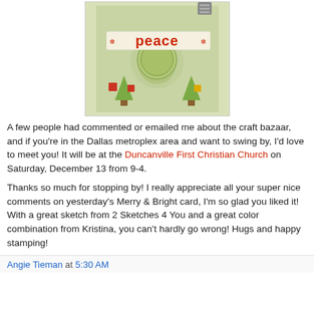[Figure (photo): A handmade Christmas card with green patterned paper, a cream banner reading 'peace' in red letters with snowflake decorations, and green Christmas tree motifs with red gift boxes.]
A few people had commented or emailed me about the craft bazaar, and if you're in the Dallas metroplex area and want to swing by, I'd love to meet you! It will be at the Duncanville First Christian Church on Saturday, December 13 from 9-4.
Thanks so much for stopping by! I really appreciate all your super nice comments on yesterday's Merry & Bright card, I'm so glad you liked it! With a great sketch from 2 Sketches 4 You and a great color combination from Kristina, you can't hardly go wrong! Hugs and happy stamping!
Angie Tieman at 5:30 AM